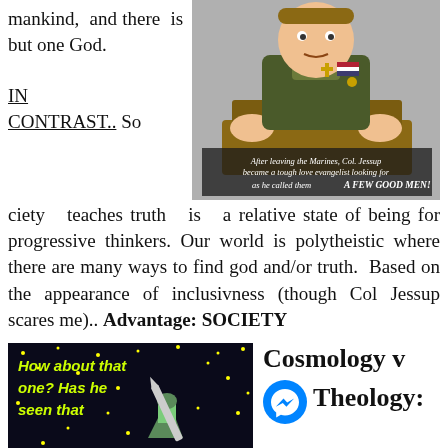mankind, and there is but one God. IN CONTRAST.. Society teaches truth is a relative state of being for progressive thinkers. Our world is polytheistic where there are many ways to find god and/or truth. Based on the appearance of inclusivness (though Col Jessup scares me).. Advantage: SOCIETY
[Figure (illustration): Cartoon illustration of Col. Jessup in Marine uniform at a podium. Caption reads: After leaving the Marines, Col. Jessup became a tough love evangelist looking for as he called them A FEW GOOD MEN!]
[Figure (illustration): Dark space-themed cartoon with yellow text reading: How about that one? Has he seen that...]
Cosmology v Theology: